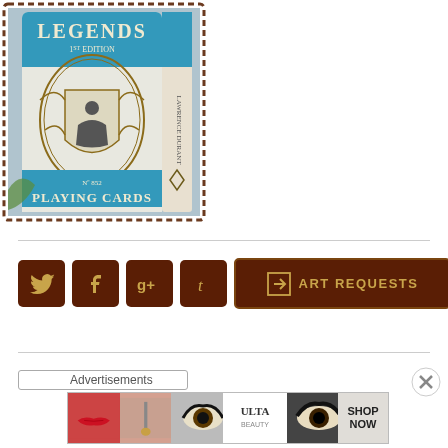[Figure (photo): Legends 1st Edition Playing Cards box (No. 852) with blue and white ornate design, Lawrence Durant branding, diamond logo on spine, photographed against a blurred background]
[Figure (infographic): Social media sharing buttons row: Twitter (bird), Facebook (f), Google+ (g+), Tumblr (t) — all brown leather-textured squares with gold icons — followed by an Art Requests brown button with arrow]
Advertisements
[Figure (photo): Ulta Beauty advertisement banner showing cosmetic imagery: red lips with brush, eye makeup, Ulta Beauty logo, eye close-up, and SHOP NOW call to action]